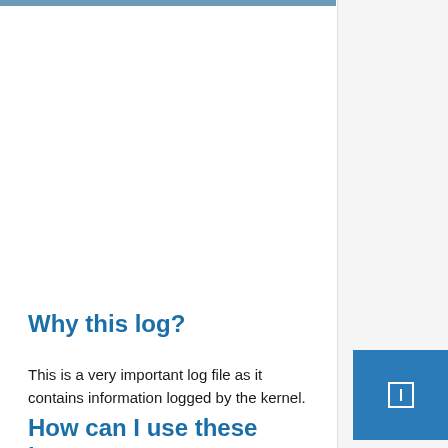Why this log?
This is a very important log file as it contains information logged by the kernel.
How can I use these logs?: